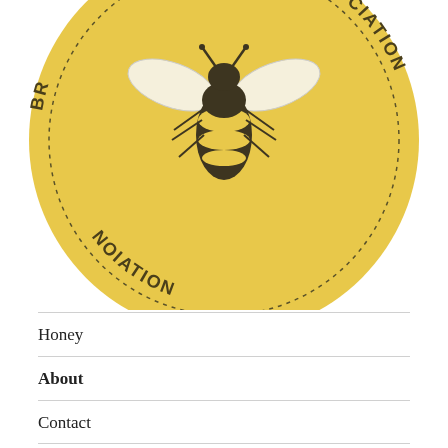[Figure (logo): Circular yellow logo with a bee illustration and curved text reading 'BR... SOCIATION' and 'NOIATION' around the bottom, partially cropped at top of page]
Honey
About
Contact
Rodinia Foods / Proudly powered by WordPress